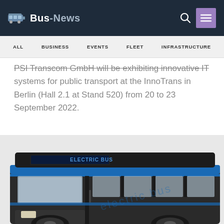Bus-News  ALL  BUSINESS  EVENTS  FLEET  INFRASTRUCTURE
PSI Transcom GmbH will be exhibiting innovative IT systems for public transport at the InnoTrans in Berlin (Hall 2.1 at Stand 520) from 20 to 23 September 2022.
[Figure (photo): Front and side view of a blue electric bus (Tata brand) with 'ELECTRIC BUS' displayed on the destination board, partially cropped at the bottom of the page.]